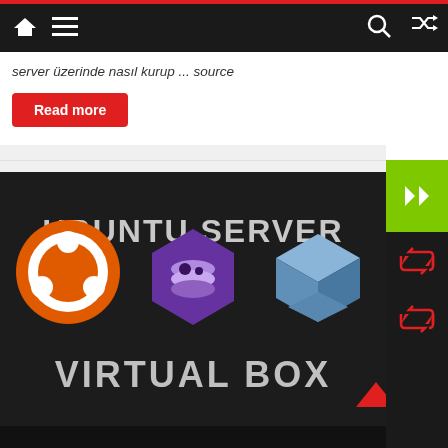Navigation bar with home, menu, search, and shuffle icons
server üzerinde nasıl kurup ... source
Read more
[Figure (screenshot): Ubuntu Server with VirtualBox promotional image showing Ubuntu logo, what appears to be a database/stack logo, and VirtualBox logo on a dark background with text UBUNTU SERVER and VIRTUAL BOX]
[Figure (infographic): Sidebar with green panel showing >> arrows and dark panel with retweet/share icons in red]